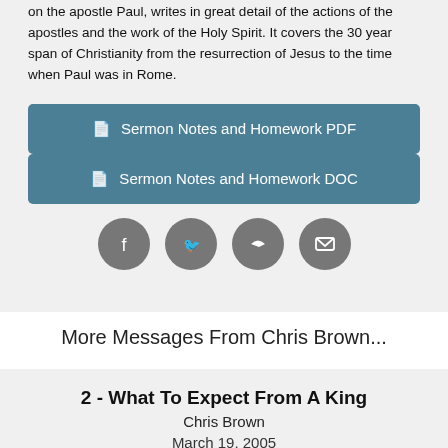on the apostle Paul, writes in great detail of the actions of the apostles and the work of the Holy Spirit. It covers the 30 year span of Christianity from the resurrection of Jesus to the time when Paul was in Rome.
Sermon Notes and Homework PDF
Sermon Notes and Homework DOC
[Figure (infographic): Four circular social share icons: Facebook, Twitter, Share/Forward, Email]
More Messages From Chris Brown...
2 - What To Expect From A King
Chris Brown
March 19, 2005
Listen